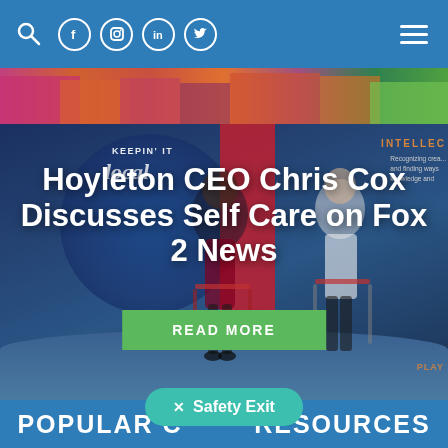Navigation bar with search icon, social media icons (Facebook, Instagram, LinkedIn, Twitter), and hamburger menu
[Figure (photo): Colorful top strip showing people in bright clothing]
[Figure (screenshot): TV studio scene showing two people seated in chairs on a talk show set with 'Keepin' It Local' signage and INTELLEC panel visible]
Hoyleton CEO Chris Cox Discusses Self Care on Fox 2 News
READ MORE
POPULAR C... RESOURCES
Safety Exit